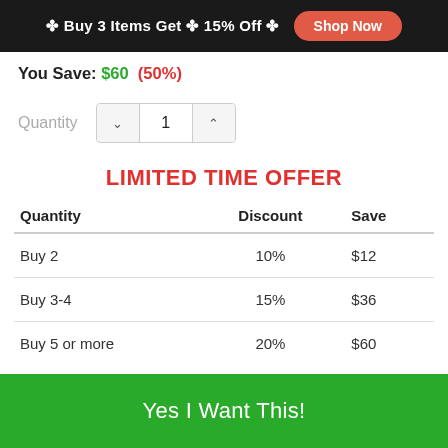✤ Buy 3 Items Get ✤ 15% Off ✤  Shop Now
You Save: $60  (50%)
Quantity  1
LIMITED TIME OFFER
| Quantity | Discount | Save |
| --- | --- | --- |
| Buy 2 | 10% | $12 |
| Buy 3-4 | 15% | $36 |
| Buy 5 or more | 20% | $60 |
Yes I Want This!